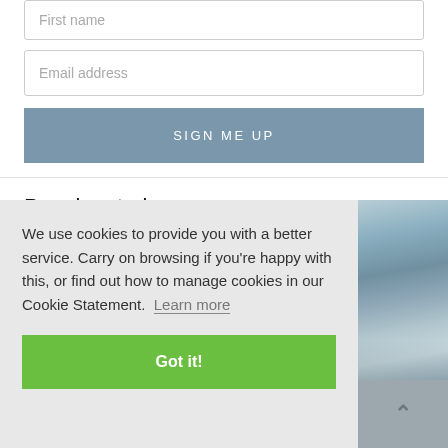First name
Email address
SIGN ME UP
Popular stories
We use cookies to provide you with a better service. Carry on browsing if you're happy with this, or find out how to manage cookies in our Cookie Statement. Learn more
Got it!
[Figure (photo): Partial view of a photo showing water or aerial scene, partially obscured by cookie banner]